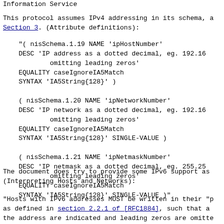Information Service
This protocol assumes IPv4 addressing in its schema, a Section 3. (Attribute definitions):
"( nisSchema.1.19 NAME 'ipHostNumber'
    DESC 'IP address as a dotted decimal, eg. 192.16
            omitting leading zeros'
    EQUALITY caseIgnoreIA5Match
    SYNTAX 'IA5String{128}' )

 ( nisSchema.1.20 NAME 'ipNetworkNumber'
    DESC 'IP network as a dotted decimal, eg. 192.16
            omitting leading zeros'
    EQUALITY caseIgnoreIA5Match
    SYNTAX 'IA5String{128}' SINGLE-VALUE )

 ( nisSchema.1.21 NAME 'ipNetmaskNumber'
    DESC 'IP netmask as a dotted decimal, eg. 255.25
            omitting leading zeros'
    EQUALITY caseIgnoreIA5Match
    SYNTAX 'IA5String{128}' SINGLE-VALUE )"
The document does try to provide some IPv6 support as (Interpreting Hosts and Networks):
"Hosts with IPv6 addresses MUST be written in their "p as defined in section 2.2.1 of [RFC1884], such that a the address are indicated and leading zeros are omitte provides a consistent means of resolving ipHosts by ad